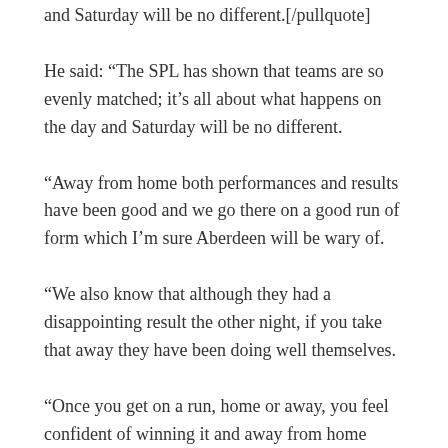and Saturday will be no different.[/pullquote]
He said: “The SPL has shown that teams are so evenly matched; it’s all about what happens on the day and Saturday will be no different.
“Away from home both performances and results have been good and we go there on a good run of form which I’m sure Aberdeen will be wary of.
“We also know that although they had a disappointing result the other night, if you take that away they have been doing well themselves.
“Once you get on a run, home or away, you feel confident of winning it and away from home right now, for whatever reason, we certainly seem to be playing